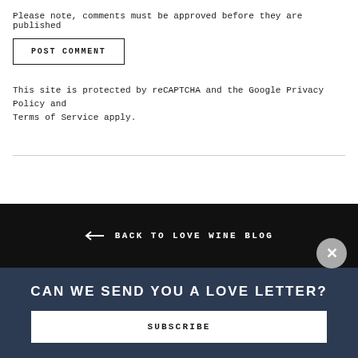Please note, comments must be approved before they are published
POST COMMENT
This site is protected by reCAPTCHA and the Google Privacy Policy and Terms of Service apply.
← BACK TO LOVE WINE BLOG
CAN WE SEND YOU A LOVE LETTER?
SUBSCRIBE